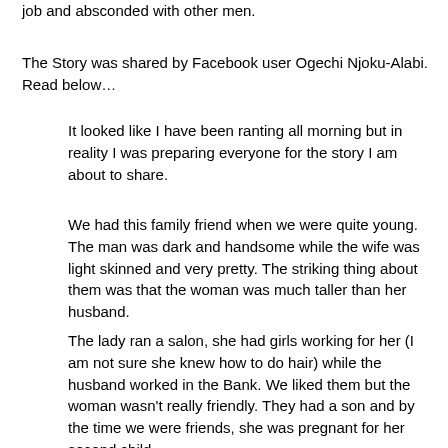job and absconded with other men.
The Story was shared by Facebook user Ogechi Njoku-Alabi. Read below…
It looked like I have been ranting all morning but in reality I was preparing everyone for the story I am about to share.
We had this family friend when we were quite young. The man was dark and handsome while the wife was light skinned and very pretty. The striking thing about them was that the woman was much taller than her husband.
The lady ran a salon, she had girls working for her (I am not sure she knew how to do hair) while the husband worked in the Bank. We liked them but the woman wasn't really friendly. They had a son and by the time we were friends, she was pregnant for her second child.